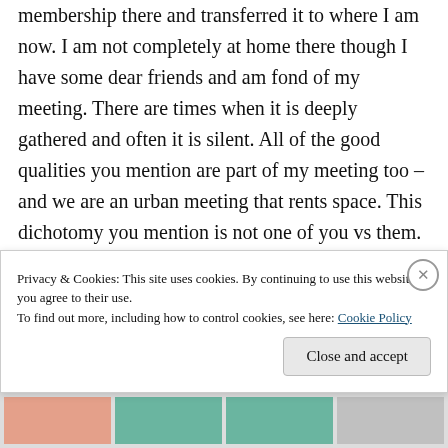membership there and transferred it to where I am now. I am not completely at home there though I have some dear friends and am fond of my meeting. There are times when it is deeply gathered and often it is silent. All of the good qualities you mention are part of my meeting too – and we are an urban meeting that rents space. This dichotomy you mention is not one of you vs them. There is a thread I've noticed running through many conversations amongst Quakers at Gathering, at meetings, in small spiritual
Privacy & Cookies: This site uses cookies. By continuing to use this website, you agree to their use.
To find out more, including how to control cookies, see here: Cookie Policy